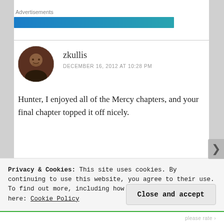Advertisements
[Figure (other): Blue-teal gradient advertisement banner bar]
[Figure (photo): Circular avatar photo of user zkullis, a man with beard in dark clothing]
zkullis
DECEMBER 16, 2012 AT 10:28 PM
Hunter, I enjoyed all of the Mercy chapters, and your final chapter topped it off nicely.
Privacy & Cookies: This site uses cookies. By continuing to use this website, you agree to their use.
To find out more, including how to control cookies, see here: Cookie Policy
Close and accept